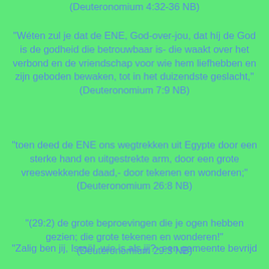(Deuteronomium 4:32-36 NB)
“Wéten zul je dat de ENE, God-over-jou, dat híj de God is de godheid die betrouwbaar is- die waakt over het verbond en de vriendschap voor wie hem liefhebben en zijn geboden bewaken, tot in het duizendste geslacht,” (Deuteronomium 7:9 NB)
“toen deed de ENE ons wegtrekken uit Egypte door een sterke hand en uitgestrekte arm, door een grote vreeswekkende daad,- door tekenen en wonderen;” (Deuteronomium 26:8 NB)
“(29:2) de grote beproevingen die je ogen hebben gezien; die grote tekenen en wonderen!” (Deuteronomium 29:3 NB)
“Zalig ben jij, Israël, wie is als jij?- een gemeente bevrijd